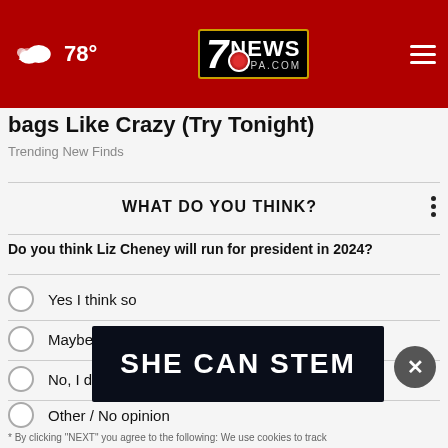78° 7NEWS WSPA.COM
bags Like Crazy (Try Tonight)
Trending New Finds
WHAT DO YOU THINK?
Do you think Liz Cheney will run for president in 2024?
Yes I think so
Maybe, I'm not sure
No, I don't think so
Other / No opinion
[Figure (screenshot): SHE CAN STEM advertisement banner]
* By clicking "NEXT" you agree to the following: We use cookies to track